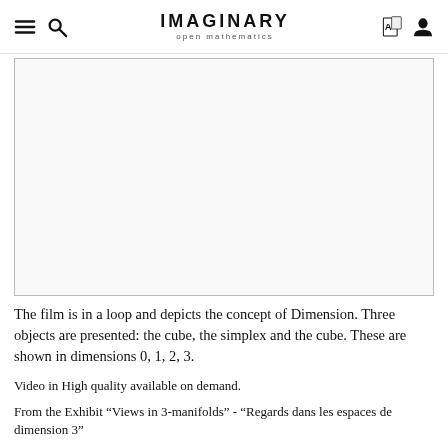IMAGINARY open mathematics
[Figure (photo): White/blank image placeholder area with a thin border, representing a looping film about the concept of Dimension]
The film is in a loop and depicts the concept of Dimension. Three objects are presented: the cube, the simplex and the cube. These are shown in dimensions 0, 1, 2, 3.
Video in High quality available on demand.
From the Exhibit “Views in 3-manifolds” - “Regards dans les espaces de dimension 3”